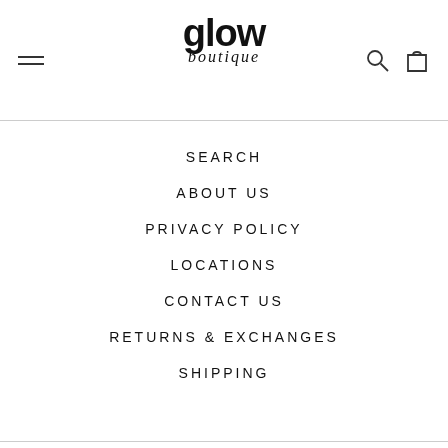[Figure (logo): Glow Boutique logo with hamburger menu icon on left and search/bag icons on right]
SEARCH
ABOUT US
PRIVACY POLICY
LOCATIONS
CONTACT US
RETURNS & EXCHANGES
SHIPPING